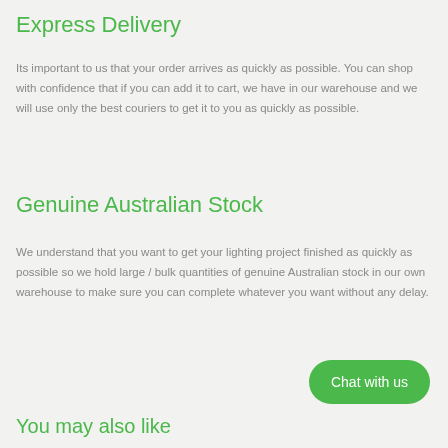Express Delivery
Its important to us that your order arrives as quickly as possible. You can shop with confidence that if you can add it to cart, we have in our warehouse and we will use only the best couriers to get it to you as quickly as possible.
Genuine Australian Stock
We understand that you want to get your lighting project finished as quickly as possible so we hold large / bulk quantities of genuine Australian stock in our own warehouse to make sure you can complete whatever you want without any delay.
Chat with us
You may also like